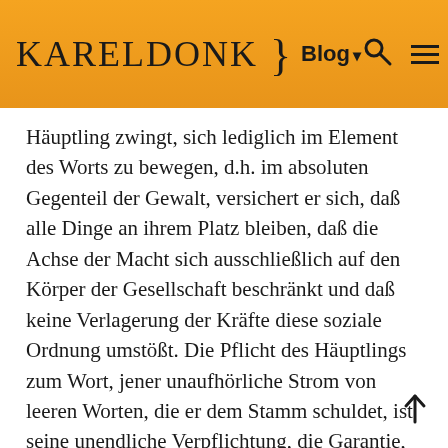KARELDONK } Blog ▾ 🔍 ☰
Häuptling zwingt, sich lediglich im Element des Worts zu bewegen, d.h. im absoluten Gegenteil der Gewalt, versichert er sich, daß alle Dinge an ihrem Platz bleiben, daß die Achse der Macht sich ausschließlich auf den Körper der Gesellschaft beschränkt und daß keine Verlagerung der Kräfte diese soziale Ordnung umstößt. Die Pflicht des Häuptlings zum Wort, jener unaufhörliche Strom von leeren Worten, die er dem Stamm schuldet, ist seine unendliche Verpflichtung, die Garantie, die es dem Mann des Worts, verbietet, zum Mann der Macht zu werden. Vielleicht müssen